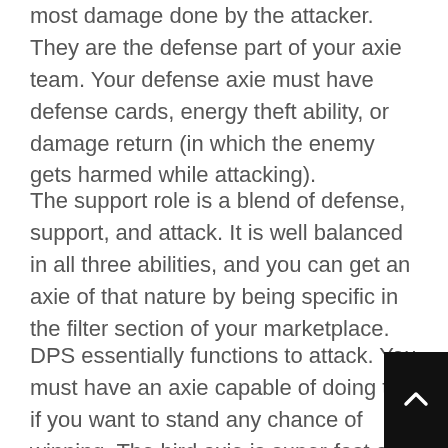most damage done by the attacker. They are the defense part of your axie team. Your defense axie must have defense cards, energy theft ability, or damage return (in which the enemy gets harmed while attacking).
The support role is a blend of defense, support, and attack. It is well balanced in all three abilities, and you can get an axie of that nature by being specific in the filter section of your marketplace.
DPS essentially functions to attack. You must have an axie capable of doing this if you want to stand any chance of winning. The bird axie is super-fast and can inflict lots of damage capable of exceeding 400points.
Know your game mode: understanding your game mode matters. The adventure mode is n… as intense as the arena mode, but it can serve as…